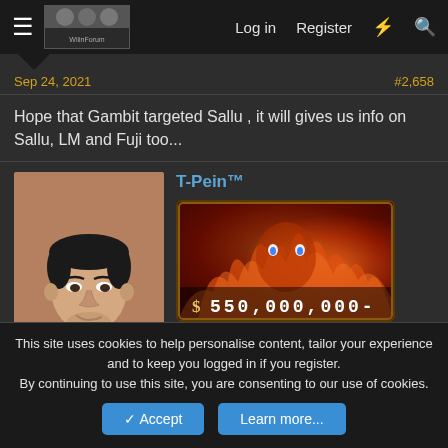≡  Log in  Register  ⚡  🔍
Sep 24, 2021   #2,658
Hope that Gambit targeted Sallu , it will gives us info on Sallu, LM and Fuji too...
T-Pein™
[Figure (photo): Profile photo of a man (avatar)]
[Figure (illustration): Anime bounty poster showing $ 550,000,000-]
This site uses cookies to help personalise content, tailor your experience and to keep you logged in if you register.
By continuing to use this site, you are consenting to our use of cookies.
Accept   Learn more...